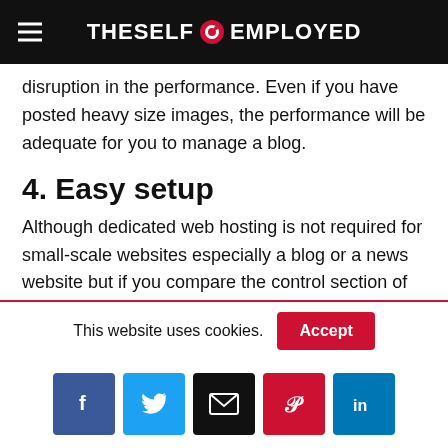THESELF EMPLOYED
disruption in the performance. Even if you have posted heavy size images, the performance will be adequate for you to manage a blog.
4. Easy setup
Although dedicated web hosting is not required for small-scale websites especially a blog or a news website but if you compare the control section of this hosting (which is code-based) with that of shared hosting then by comparison, the latter is super easy to setup. It only takes
This website uses cookies.
Social share buttons: Facebook, Twitter, Email, Pinterest, LinkedIn